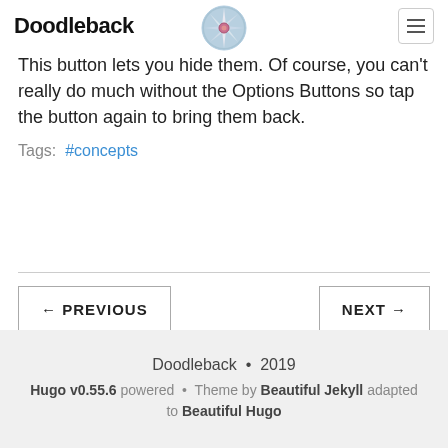Doodleback
This button lets you hide them. Of course, you can't really do much without the Options Buttons so tap the button again to bring them back.
Tags: #concepts
← PREVIOUS
NEXT →
Doodleback • 2019
Hugo v0.55.6 powered • Theme by Beautiful Jekyll adapted to Beautiful Hugo